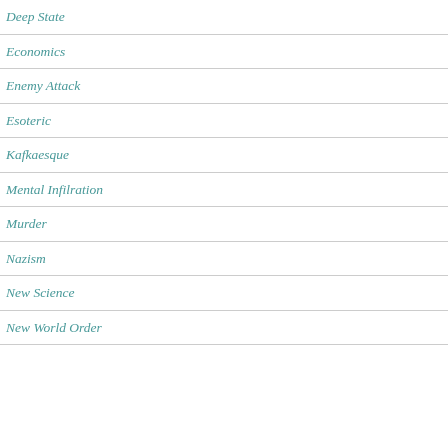Deep State
Economics
Enemy Attack
Esoteric
Kafkaesque
Mental Infilration
Murder
Nazism
New Science
New World Order